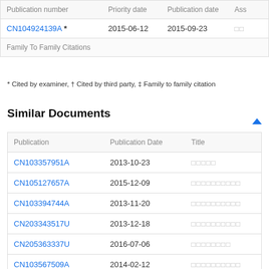| Publication number | Priority date | Publication date | Ass |
| --- | --- | --- | --- |
| CN104924139A * | 2015-06-12 | 2015-09-23 | □□ |
| Family To Family Citations |  |  |  |
* Cited by examiner, † Cited by third party, ‡ Family to family citation
Similar Documents
| Publication | Publication Date | Title |
| --- | --- | --- |
| CN103357951A | 2013-10-23 | □□□□□ |
| CN105127657A | 2015-12-09 | □□□□□□□□□□ |
| CN103394744A | 2013-11-20 | □□□□□□□□□□ |
| CN203343517U | 2013-12-18 | □□□□□□□□□□ |
| CN205363337U | 2016-07-06 | □□□□□□□□ |
| CN103567509A | 2014-02-12 | □□□□□□□□□□ |